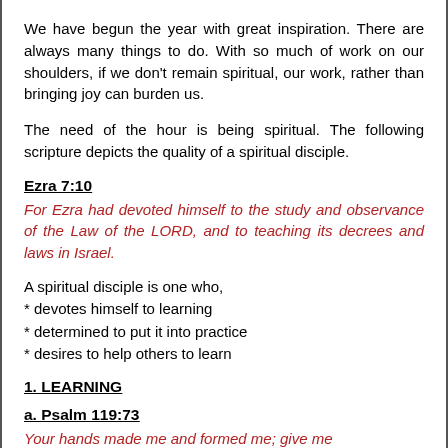We have begun the year with great inspiration. There are always many things to do. With so much of work on our shoulders, if we don't remain spiritual, our work, rather than bringing joy can burden us.
The need of the hour is being spiritual. The following scripture depicts the quality of a spiritual disciple.
Ezra 7:10
For Ezra had devoted himself to the study and observance of the Law of the LORD, and to teaching its decrees and laws in Israel.
A spiritual disciple is one who,
* devotes himself to learning
* determined to put it into practice
* desires to help others to learn
1. LEARNING
a. Psalm 119:73
Your hands made me and formed me; give me